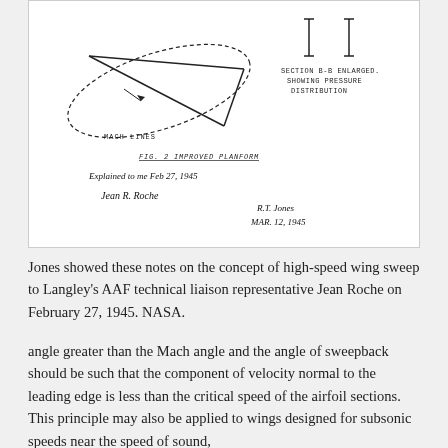[Figure (engineering-diagram): Handwritten sketch showing an improved planform wing design with Mach lines annotation, section B-B enlarged showing pressure distribution labels, and handwritten notes. Signed by R.T. Jones, Mar 12, 1945, with a note 'Explained to me Feb 27, 1945' signed by Jean Roche.]
Jones showed these notes on the concept of high-speed wing sweep to Langley's AAF technical liaison representative Jean Roche on February 27, 1945. NASA.
angle greater than the Mach angle and the angle of sweepback should be such that the component of velocity normal to the leading edge is less than the critical speed of the airfoil sections. This principle may also be applied to wings designed for subsonic speeds near the speed of sound,